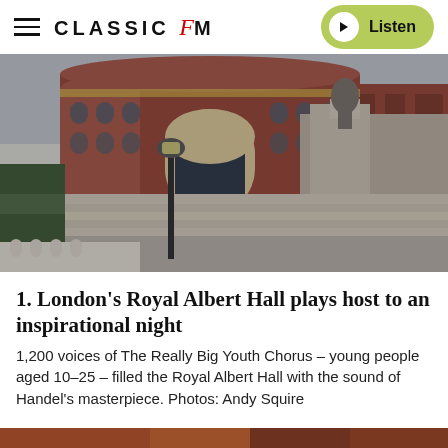CLASSIC fM   Listen
[Figure (photo): Exterior photograph of London's Royal Albert Hall, showing the iconic red brick Victorian building with arched entrance, stone steps, a lamp post, and a stone monument/sculpture to the right.]
1. London's Royal Albert Hall plays host to an inspirational night
1,200 voices of The Really Big Youth Chorus – young people aged 10–25 – filled the Royal Albert Hall with the sound of Handel's masterpiece. Photos: Andy Squire